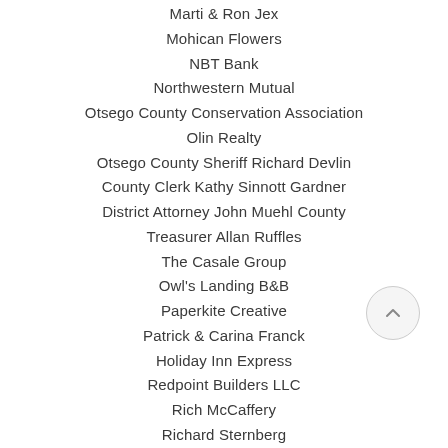Marti & Ron Jex
Mohican Flowers
NBT Bank
Northwestern Mutual
Otsego County Conservation Association
Olin Realty
Otsego County Sheriff Richard Devlin
County Clerk Kathy Sinnott Gardner
District Attorney John Muehl County
Treasurer Allan Ruffles
The Casale Group
Owl's Landing B&B
Paperkite Creative
Patrick & Carina Franck
Holiday Inn Express
Redpoint Builders LLC
Rich McCaffery
Richard Sternberg
Rudy's Liquor
Sal's Pizzeria